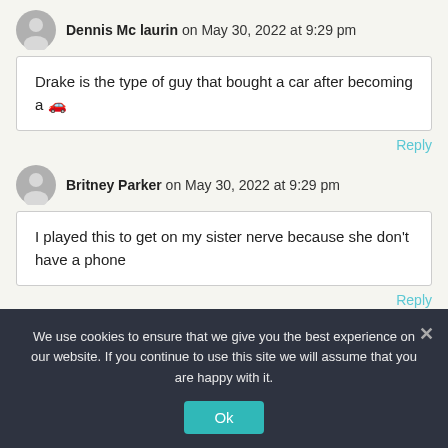Dennis Mc laurin on May 30, 2022 at 9:29 pm
Drake is the type of guy that bought a car after becoming a 🚗
Reply
Britney Parker on May 30, 2022 at 9:29 pm
I played this to get on my sister nerve because she don't have a phone
Reply
We use cookies to ensure that we give you the best experience on our website. If you continue to use this site we will assume that you are happy with it.
Ok